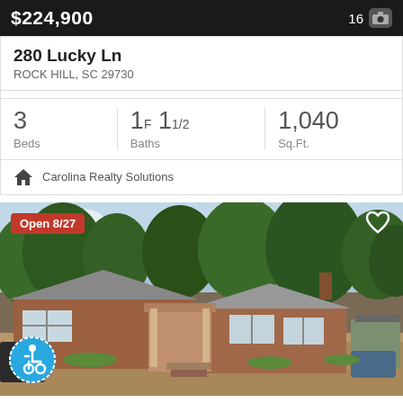$224,900   16
280 Lucky Ln
ROCK HILL, SC 29730
3 Beds   1F 11/2 Baths   1,040 Sq.Ft.
Carolina Realty Solutions
[Figure (photo): Exterior photo of a brick ranch-style house with a covered porch, large trees in background, gravel/dirt yard. Open 8/27 badge visible top-left, heart icon top-right, wheelchair accessibility icon bottom-left.]